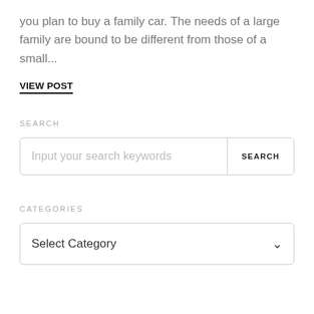you plan to buy a family car. The needs of a large family are bound to be different from those of a small...
VIEW POST
SEARCH
Input your search keywords  SEARCH
CATEGORIES
Select Category